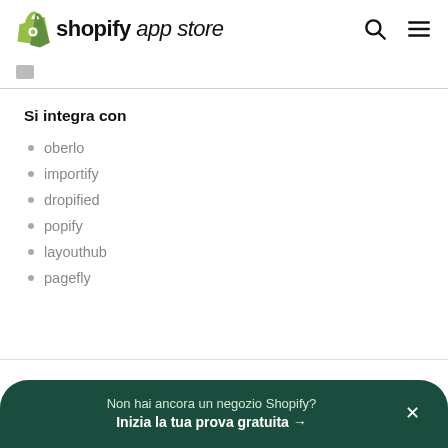shopify app store
Si integra con
oberlo
importify
dropified
popify
layouthub
pagefly
Non hai ancora un negozio Shopify? Inizia la tua prova gratuita →